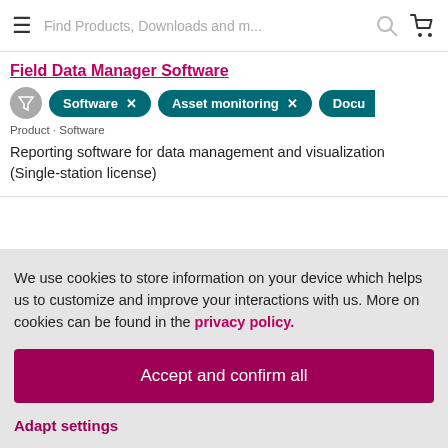Find Products, Downloads and m...
Field Data Manager Software
Product · Software
Reporting software for data management and visualization (Single-station license)
We use cookies to store information on your device which helps us to customize and improve your interactions with us. More on cookies can be found in the privacy policy.
Accept and confirm all
Adapt settings